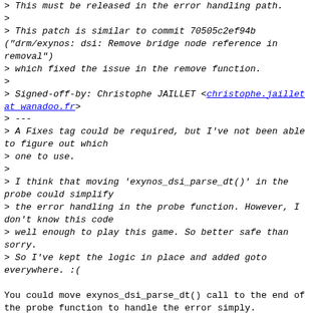> This must be released in the error handling path.
>
> This patch is similar to commit 70505c2ef94b ("drm/exynos: dsi: Remove bridge node reference in removal")
> which fixed the issue in the remove function.
>
> Signed-off-by: Christophe JAILLET <christophe.jaillet at wanadoo.fr>
> ---
> A Fixes tag could be required, but I've not been able to figure out which
> one to use.
>
> I think that moving 'exynos_dsi_parse_dt()' in the probe could simplify
> the error handling in the probe function. However, I don't know this code
> well enough to play this game. So better safe than sorry.
> So I've kept the logic in place and added goto everywhere. :(

You could move exynos_dsi_parse_dt() call to the end of the probe function to handle the error simply.
dsi->in_bridge_node is accessed in bind function and the probe function is called before the bind call.

Could you rework and post it again?

Than